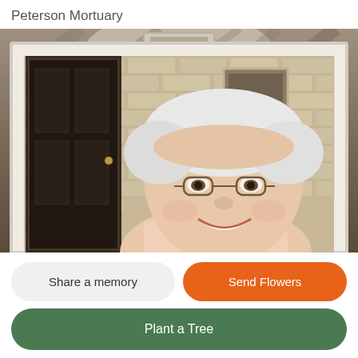Peterson Mortuary
[Figure (photo): Elderly woman with short white hair and glasses, smiling in front of a brick wall with a dark door, framed in a light cream/ivory photo frame with a blurred sepia background above]
Share a memory
Send Flowers
Plant a Tree